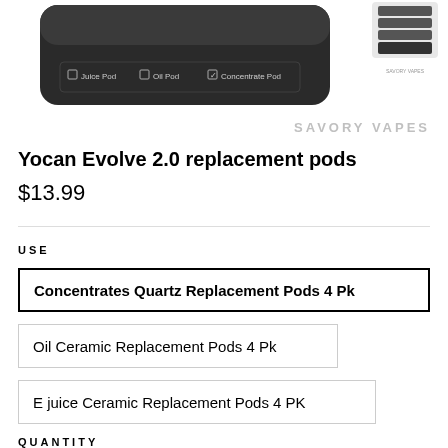[Figure (photo): Product image of Yocan Evolve 2.0 vape device, dark colored cylindrical device with text showing Juice Pod, Oil Pod, Concentrate Pod options. Small thumbnail image in top right corner.]
SAVORY VAPES
Yocan Evolve 2.0 replacement pods
$13.99
USE
Concentrates Quartz Replacement Pods 4 Pk
Oil Ceramic Replacement Pods 4 Pk
E juice Ceramic Replacement Pods 4 PK
QUANTITY